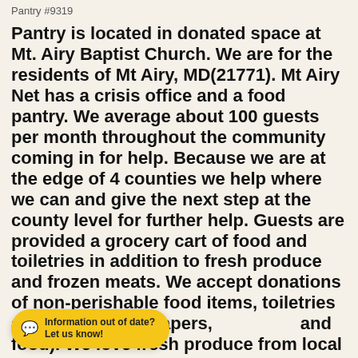Pantry #9319
Pantry is located in donated space at Mt. Airy Baptist Church. We are for the residents of Mt Airy, MD(21771). Mt Airy Net has a crisis office and a food pantry. We average about 100 guests per month throughout the community coming in for help. Because we are at the edge of 4 counties we help where we can and give the next step at the county level for further help. Guests are provided a grocery cart of food and toiletries in addition to fresh produce and frozen meats. We accept donations of non-perishable food items, toiletries and baby items(diapers, and food). We love fresh produce from local gardens! All our
Information out of date? Let us know!